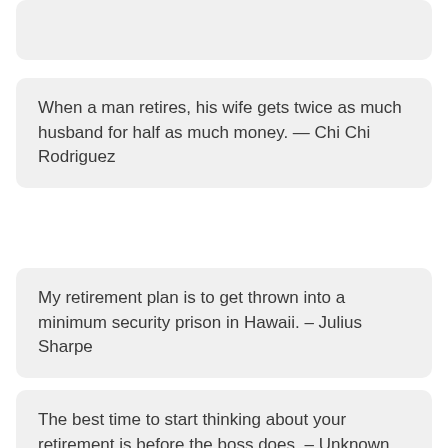When a man retires, his wife gets twice as much husband for half as much money. — Chi Chi Rodriguez
My retirement plan is to get thrown into a minimum security prison in Hawaii. – Julius Sharpe
The best time to start thinking about your retirement is before the boss does. – Unknown